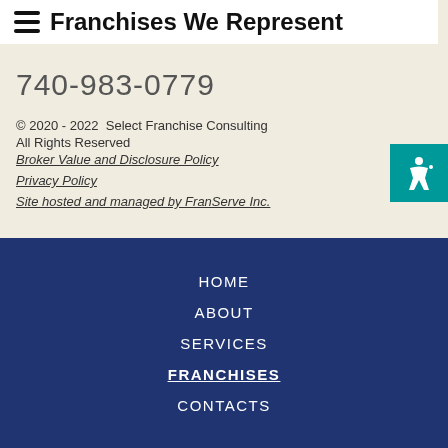Franchises We Represent
740-983-0779
© 2020 - 2022  Select Franchise Consulting
All Rights Reserved
Broker Value and Disclosure Policy
Privacy Policy
Site hosted and managed by FranServe Inc.
HOME
ABOUT
SERVICES
FRANCHISES
CONTACTS